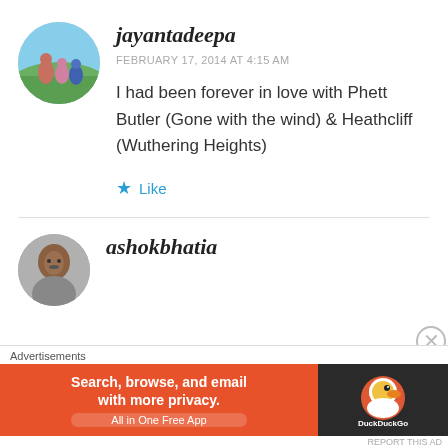[Figure (photo): Circular avatar photo of jayantadeepa — outdoor group photo with sky and vegetation background]
jayantadeepa
FEBRUARY 17, 2014 AT 4:15 AM
I had been forever in love with Phett Butler (Gone with the wind) & Heathcliff (Wuthering Heights)
★ Like
[Figure (photo): Circular avatar photo of ashokbhatia — portrait of a man]
ashokbhatia
Advertisements
[Figure (screenshot): DuckDuckGo advertisement banner: orange background with text 'Search, browse, and email with more privacy. All in One Free App' and DuckDuckGo logo on dark background]